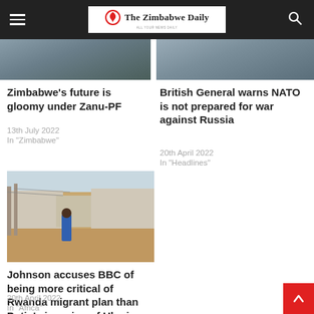The Zimbabwe Daily
[Figure (photo): Partial top thumbnail of article image left]
[Figure (photo): Partial top thumbnail of article image right]
Zimbabwe's future is gloomy under Zanu-PF
13th July 2022
In "Zimbabwe"
British General warns NATO is not prepared for war against Russia
20th April 2022
In "Headlines"
[Figure (photo): A person in a blue outfit standing in a refugee camp with makeshift shelters and sandy ground]
Johnson accuses BBC of being more critical of Rwanda migrant plan than Putin's invasion of Ukraine
20th April 2022
In "Africa"